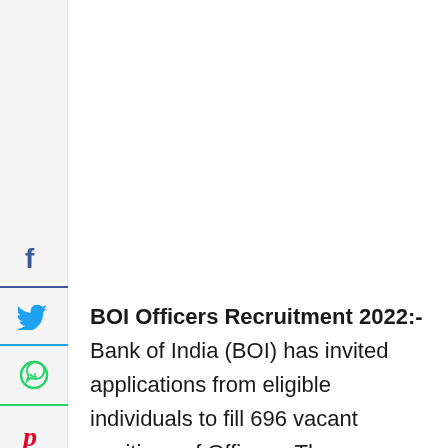[Figure (other): Social media share sidebar with Facebook, Twitter, WhatsApp, Pinterest, Email icons and a back arrow button]
BOI Officers Recruitment 2022:- Bank of India (BOI) has invited applications from eligible individuals to fill 696 vacant positions of Officers. The notification regarding the recruitment is published on the official website of BOI https://www.bankofindia.co.in/. All the interested candidates are advised to visit the official website of BOI and must go through the